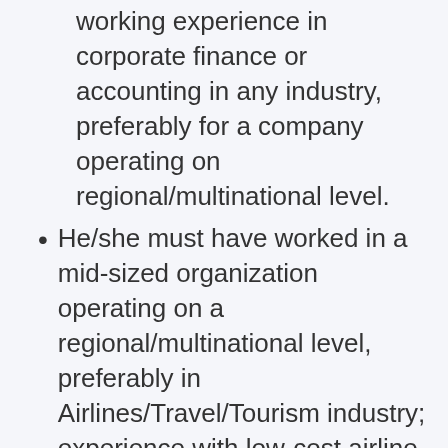working experience in corporate finance or accounting in any industry, preferably for a company operating on regional/multinational level.
He/she must have worked in a mid-sized organization operating on a regional/multinational level, preferably in Airlines/Travel/Tourism industry; experience with low-cost airline would be an advantage.
Sound knowledge in accounting cycle, process flow and